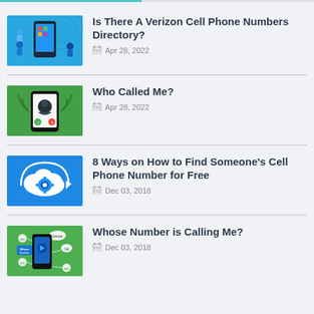[Figure (illustration): Blue background illustration with smartphone and people for Verizon Cell Phone Numbers Directory article]
Is There A Verizon Cell Phone Numbers Directory?
Apr 28, 2022
[Figure (illustration): Green background illustration with phone showing unknown caller/spy icon for Who Called Me article]
Who Called Me?
Apr 28, 2022
[Figure (illustration): Blue background illustration with cloud and gears for 8 Ways on How to Find Someone's Cell Phone Number for Free article]
8 Ways on How to Find Someone's Cell Phone Number for Free
Dec 03, 2018
[Figure (illustration): Green background illustration with smartphone and network nodes for Whose Number is Calling Me article]
Whose Number is Calling Me?
Dec 03, 2018